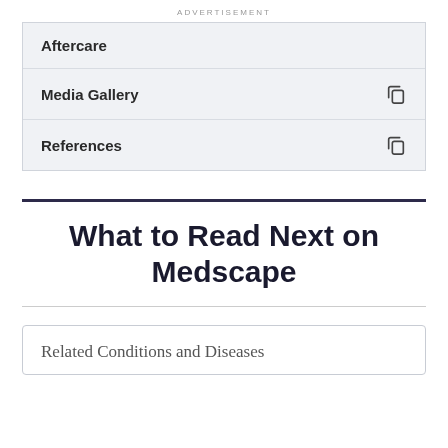ADVERTISEMENT
Aftercare
Media Gallery
References
What to Read Next on Medscape
Related Conditions and Diseases